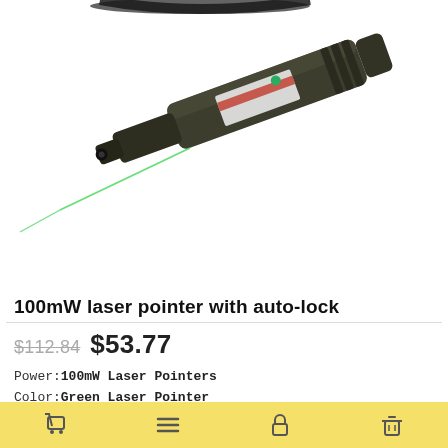[Figure (photo): Green laser pointer device with a bright green laser beam emitting from the tip, shown on white background. The pen-shaped device is dark olive/black colored with a label on the body.]
100mW laser pointer with auto-lock
$112.84  $53.77
Power:100mW Laser Pointers
Color:Green Laser Pointer
Size:30mm*110mm
The weight:56g